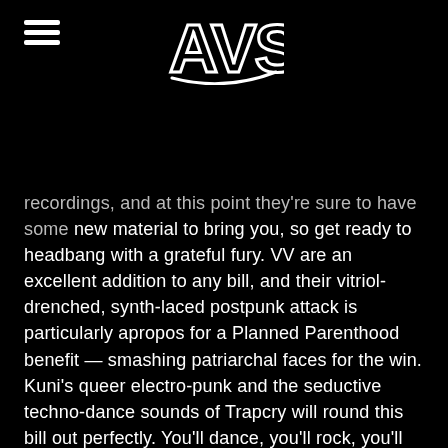AVS logo and hamburger menu
recordings, and at this point they're sure to have some new material to bring you, so get ready to headbang with a grateful fury. VV are an excellent addition to any bill, and their vitriol-drenched, synth-laced postpunk attack is particularly apropos for a Planned Parenthood benefit — smashing patriarchal faces for the win. Kuni's queer electro-punk and the seductive techno-dance sounds of Trapcry will round this bill out perfectly. You'll dance, you'll rock, you'll smash the patriarchy… it's the most wonderful time of the year.